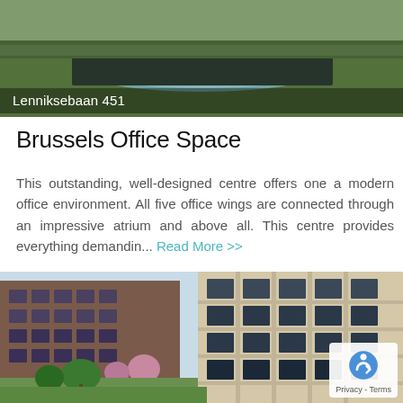[Figure (photo): Aerial photo of Lenniksebaan 451 building with green lawn and water feature]
Lenniksebaan 451
Brussels Office Space
This outstanding, well-designed centre offers one a modern office environment. All five office wings are connected through an impressive atrium and above all. This centre provides everything demandin... Read More >>
[Figure (photo): Street-level photo of Brussels office building complex with red brick building on left and modern beige concrete building on right, green courtyard in foreground]